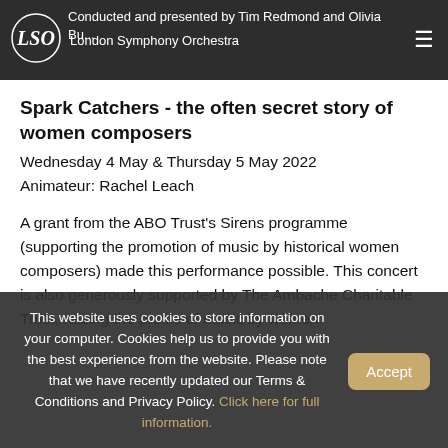LSO London Symphony Orchestra | Conducted and presented by Tim Redmond and Olivia Bu...
Spark Catchers - the often secret story of women composers
Wednesday 4 May & Thursday 5 May 2022
Animateur: Rachel Leach
A grant from the ABO Trust's Sirens programme (supporting the promotion of music by historical women composers) made this performance possible. This concert is also generously supported by The Ambache Charitable Trust, raising the profile of music by women.
This website uses cookies to store information on your computer. Cookies help us to provide you with the best experience from the website. Please note that we have recently updated our Terms & Conditions and Privacy Policy. Click here for full information.